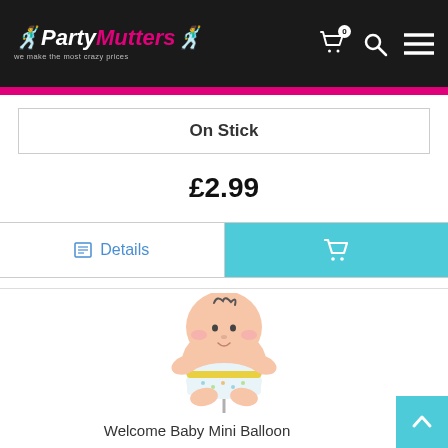PartyMutters
On Stick
£2.99
Details
[Figure (illustration): Baby balloon product illustration — a foil balloon shaped like a cute cartoon baby sitting, wearing a patterned diaper, with curly hair, on a stick.]
Welcome Baby Mini Balloon